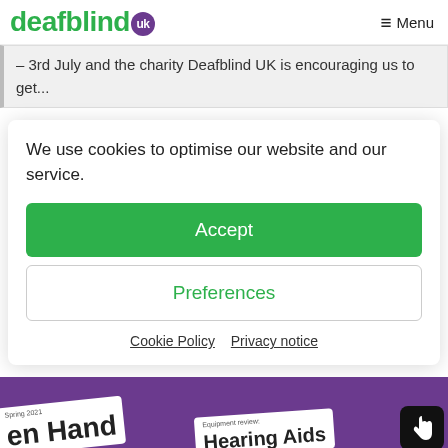deafblind uk  ≡ Menu
– 3rd July and the charity Deafblind UK is encouraging us to get...
We use cookies to optimise our website and our service.
Accept
Preferences
Cookie Policy  Privacy notice
[Figure (photo): Bottom strip showing magazine covers with 'Open Hand' and 'Hearing Aids' text on a purple background, with a hand icon button on the right.]